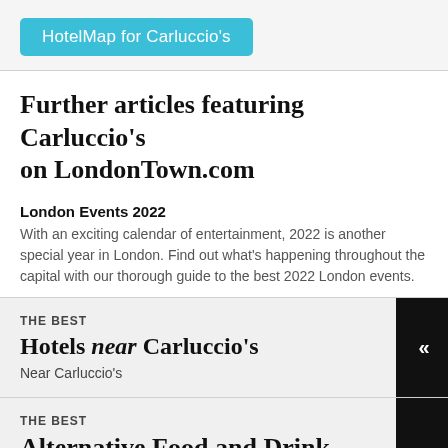[Figure (other): HotelMap for Carluccio's button — cyan/teal rounded rectangle button with white text]
Further articles featuring Carluccio's on LondonTown.com
London Events 2022
With an exciting calendar of entertainment, 2022 is another special year in London. Find out what's happening throughout the capital with our thorough guide to the best 2022 London events.
THE BEST
Hotels near Carluccio's
Near Carluccio's
THE BEST
Alternative Food and Drink Shops